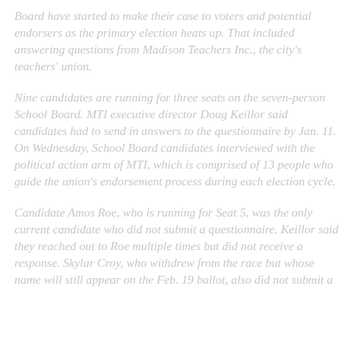Board have started to make their case to voters and potential endorsers as the primary election heats up. That included answering questions from Madison Teachers Inc., the city's teachers' union.
Nine candidates are running for three seats on the seven-person School Board. MTI executive director Doug Keillor said candidates had to send in answers to the questionnaire by Jan. 11. On Wednesday, School Board candidates interviewed with the political action arm of MTI, which is comprised of 13 people who guide the union's endorsement process during each election cycle.
Candidate Amos Roe, who is running for Seat 5, was the only current candidate who did not submit a questionnaire. Keillor said they reached out to Roe multiple times but did not receive a response. Skylar Croy, who withdrew from the race but whose name will still appear on the Feb. 19 ballot, also did not submit a